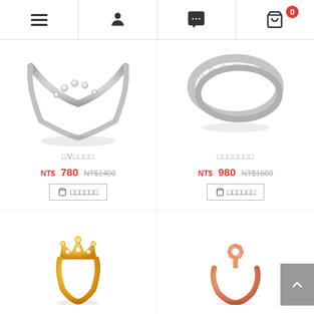Navigation bar with menu, user, chat, and cart (0 items) icons
[Figure (photo): Silver V-shaped ring with small diamonds on top, white background]
□V□□□□
NT$780  NT$1400
🛒 □□□□□□ (Add to cart button)
[Figure (photo): Silver eternity band ring with diamonds all around, white background]
□□□□□□□
NT$980  NT$1600
🛒 □□□□□□ (Add to cart button)
[Figure (photo): Gold crown-shaped ring with small diamonds, yellow gold color]
[Figure (photo): Rose gold ring with a flower/daisy top set with a diamond, pink rose gold color]